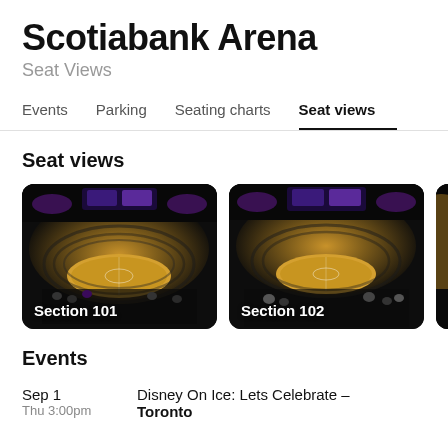Scotiabank Arena
Seat Views
Events  Parking  Seating charts  Seat views
Seat views
[Figure (photo): Arena seat view photo from Section 101 at Scotiabank Arena, showing basketball court and seating bowl]
[Figure (photo): Arena seat view photo from Section 102 at Scotiabank Arena, showing basketball court and seating bowl]
Events
Sep 1
Thu  3:00pm
Disney On Ice: Lets Celebrate – Toronto